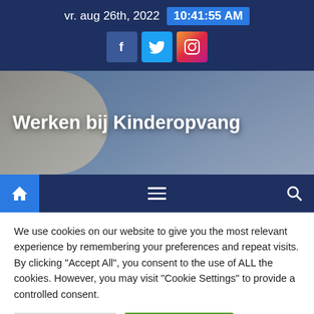vr. aug 26th, 2022  10:41:55 AM
[Figure (screenshot): Social media icons: Facebook, Twitter, Instagram]
Werken bij Kinderopvang
[Figure (infographic): Navigation bar with home icon, hamburger menu, and search icon]
We use cookies on our website to give you the most relevant experience by remembering your preferences and repeat visits. By clicking "Accept All", you consent to the use of ALL the cookies. However, you may visit "Cookie Settings" to provide a controlled consent.
Cookie Settings
Accepteer alles